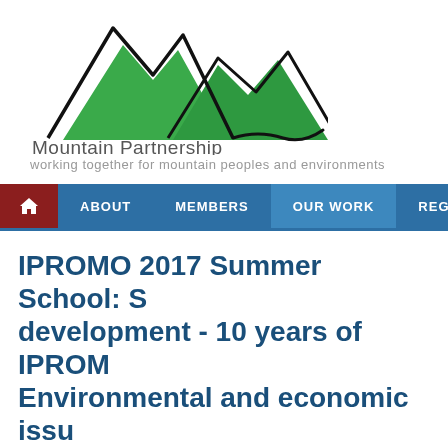[Figure (logo): Mountain Partnership logo: stylized green mountains with black outline peaks, text 'Mountain Partnership' and tagline 'working together for mountain peoples and environments']
ABOUT  MEMBERS  OUR WORK  REGIONS  NE
IPROMO 2017 Summer School: S... development - 10 years of IPROM... Environmental and economic issu... mountain sustainability
Introduction
The 2017 IPROMO course marks the tenth anniversary of the programm... since then, about 250 officers and experts have taken part in the IPROM... provide an overview of the key themes pertaining to sustainable mountai... support of a new partner - the University of Tuscia, Viterbo, Italy - who w... Partnership Programme, FAO, and the University of Turin...